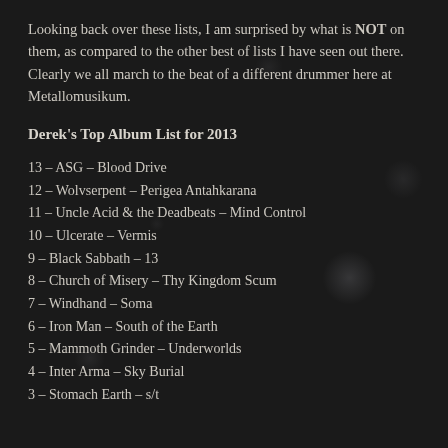Looking back over these lists, I am surprised by what is NOT on them, as compared to the other best of lists I have seen out there. Clearly we all march to the beat of a different drummer here at Metallomusikum.
Derek's Top Album List for 2013
13 – ASG – Blood Drive
12 – Wolvserpent – Perigea Antahkarana
11 – Uncle Acid & the Deadbeats – Mind Control
10 – Ulcerate – Vermis
9 – Black Sabbath – 13
8 – Church of Misery – Thy Kingdom Scum
7 – Windhand – Soma
6 – Iron Man – South of the Earth
5 – Mammoth Grinder – Underworlds
4 – Inter Arma – Sky Burial
3 – Stomach Earth – s/t